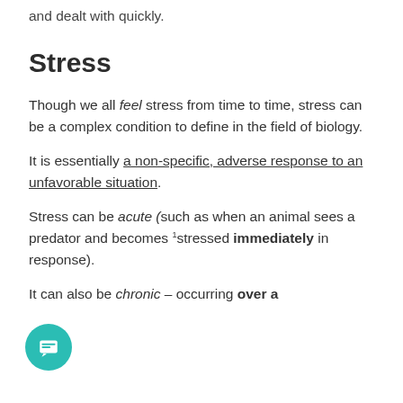and dealt with quickly.
Stress
Though we all feel stress from time to time, stress can be a complex condition to define in the field of biology.
It is essentially a non-specific, adverse response to an unfavorable situation.
Stress can be acute (such as when an animal sees a predator and becomes stressed immediately in response).
It can also be chronic – occurring over a